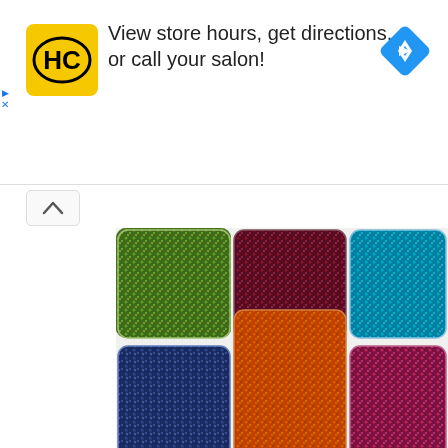[Figure (infographic): Advertisement banner with HC logo (yellow background, black text), text 'View store hours, get directions, or call your salon!', and a blue navigation diamond icon on the right. Small blue play and X icons on the far left.]
[Figure (photo): Six colorful decorative gem/crystal coasters arranged on a white background: green glitter (top left), dark red/maroon (top center), teal/blue (top right), dark blue (bottom left), orange with gold flakes (bottom center), and pink/magenta (bottom right). Watermark reads 'BEADING GEM DESIGN' in gray text at bottom right.]
[Figure (photo): Partial view of a second image below showing red ribbon/bow on the left and a white ceramic cup/container on the right, against a white background.]